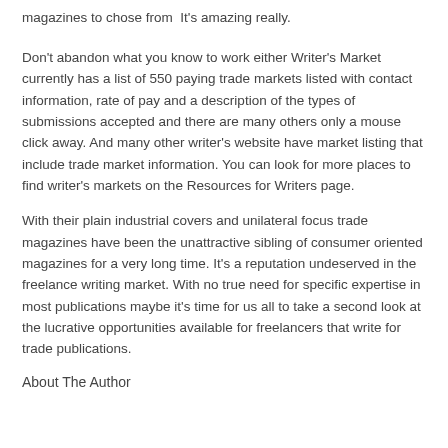magazines to chose from  It's amazing really.
Don't abandon what you know to work either Writer's Market currently has a list of 550 paying trade markets listed with contact information, rate of pay and a description of the types of submissions accepted and there are many others only a mouse click away. And many other writer's website have market listing that include trade market information. You can look for more places to find writer's markets on the Resources for Writers page.
With their plain industrial covers and unilateral focus trade magazines have been the unattractive sibling of consumer oriented magazines for a very long time. It's a reputation undeserved in the freelance writing market. With no true need for specific expertise in most publications maybe it's time for us all to take a second look at the lucrative opportunities available for freelancers that write for trade publications.
About The Author